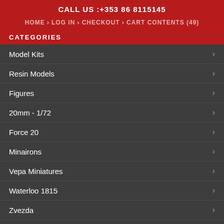CALL US :+353 86 8115145
HOME > LOG IN > CHECKOUT > CART CONTENTS (49)
CATEGORIES
Model Kits
Resin Models
Figures
20mm - 1/72
Force 20
Minairons
Vepa Miniatures
Waterloo 1815
Zvezda
Elhiem Figures
Chinese PLA